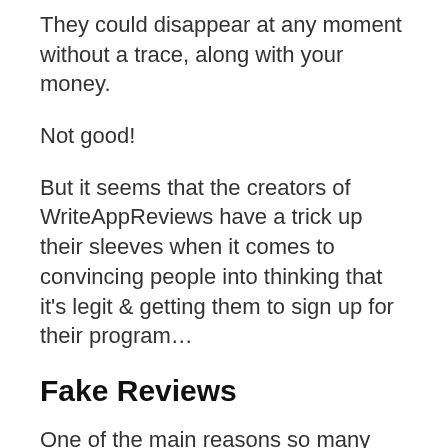They could disappear at any moment without a trace, along with your money.
Not good!
But it seems that the creators of WriteAppReviews have a trick up their sleeves when it comes to convincing people into thinking that it's legit & getting them to sign up for their program…
Fake Reviews
One of the main reasons so many people have been getting caught out by the WriteAppReviews.com scam is because